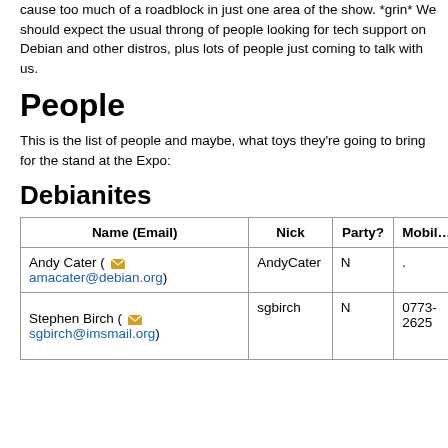cause too much of a roadblock in just one area of the show. *grin* We should expect the usual throng of people looking for tech support on Debian and other distros, plus lots of people just coming to talk with us.
People
This is the list of people and maybe, what toys they're going to bring for the stand at the Expo:
Debianites
| Name (Email) | Nick | Party? | Mobile |
| --- | --- | --- | --- |
| Andy Cater ( amacater@debian.org ) | AndyCater | N | . |
| Stephen Birch ( sgbirch@imsmail.org ) | sgbirch | N | 0773-2625 |